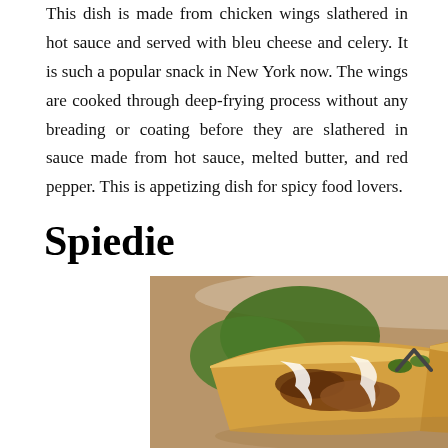This dish is made from chicken wings slathered in hot sauce and served with bleu cheese and celery. It is such a popular snack in New York now. The wings are cooked through deep-frying process without any breading or coating before they are slathered in sauce made from hot sauce, melted butter, and red pepper. This is appetizing dish for spicy food lovers.
Spiedie
[Figure (photo): A close-up photo of spiedie sandwiches — grilled meat in hoagie rolls with white sauce drizzled on top and fresh green herbs/parsley, served in a white bowl.]